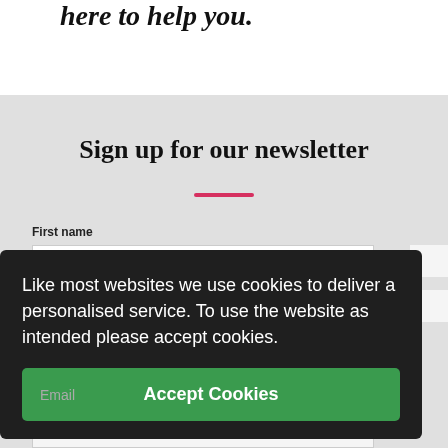here to help you.
Sign up for our newsletter
First name
Like most websites we use cookies to deliver a personalised service. To use the website as intended please accept cookies.
Email
Accept Cookies